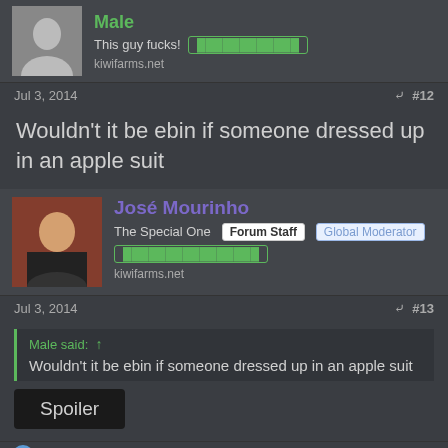[Figure (screenshot): Forum post top section with user avatar (Male), 'This guy fucks!' text with green link box, and kiwifarms.net]
Jul 3, 2014   #12
Wouldn't it be ebin if someone dressed up in an apple suit
[Figure (photo): Avatar photo of José Mourinho holding a trophy]
José Mourinho - The Special One - Forum Staff - Global Moderator - kiwifarms.net
Jul 3, 2014   #13
Male said: Wouldn't it be ebin if someone dressed up in an apple suit
Spoiler
skyleemb and Pablo Frias